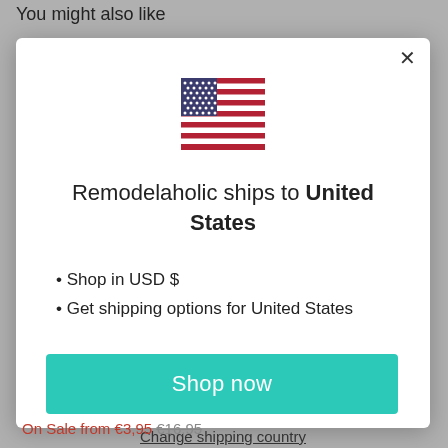You might also like
[Figure (illustration): US flag icon]
Remodelaholic ships to United States
Shop in USD $
Get shipping options for United States
Shop now
Change shipping country
On Sale from €3,95 €16,95